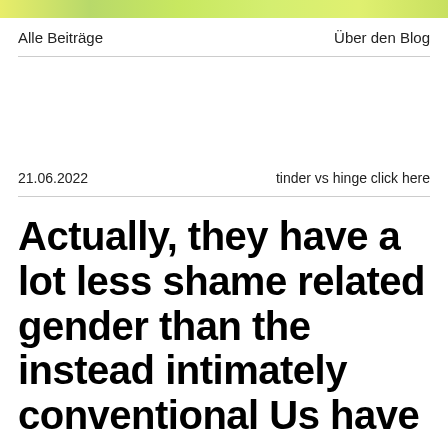[Figure (other): Decorative gradient banner strip in yellow-green tones at the top of the page]
Alle Beiträge    Über den Blog
21.06.2022    tinder vs hinge click here
Actually, they have a lot less shame related gender than the instead intimately conventional Us have